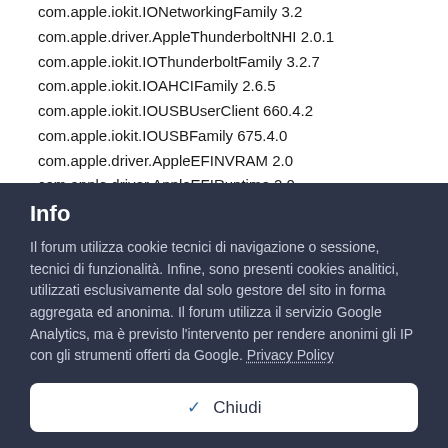com.apple.iokit.IONetworkingFamily 3.2
com.apple.driver.AppleThunderboltNHI 2.0.1
com.apple.iokit.IOThunderboltFamily 3.2.7
com.apple.iokit.IOAHCIFamily 2.6.5
com.apple.iokit.IOUSBUserClient 660.4.2
com.apple.iokit.IOUSBFamily 675.4.0
com.apple.driver.AppleEFINVRAM 2.0
com.apple.driver.AppleEFIRuntime 2.0
com.apple.iokit.IOHIDFamily 2.0.0
com.apple.iokit.IOSMBusFamily 1.1
com.apple.security.sandbox 278.11
Info
Il forum utilizza cookie tecnici di navigazione o sessione, tecnici di funzionalità. Infine, sono presenti cookies analitici, utilizzati esclusivamente dal solo gestore del sito in forma aggregata ed anonima. Il forum utilizza il servizio Google Analytics, ma è previsto l'intervento per rendere anonimi gli IP con gli strumenti offerti da Google. Privacy Policy
✓ Chiudi